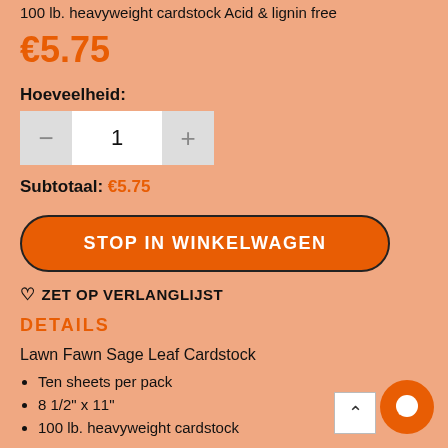100 lb. heavyweight cardstock Acid & lignin free
€5.75
Hoeveelheid:
Subtotaal: €5.75
STOP IN WINKELWAGEN
♡ ZET OP VERLANGLIJST
DETAILS
Lawn Fawn Sage Leaf Cardstock
Ten sheets per pack
8 1/2" x 11"
100 lb. heavyweight cardstock